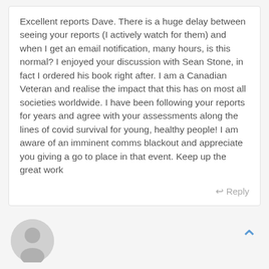Excellent reports Dave. There is a huge delay between seeing your reports (I actively watch for them) and when I get an email notification, many hours, is this normal? I enjoyed your discussion with Sean Stone, in fact I ordered his book right after. I am a Canadian Veteran and realise the impact that this has on most all societies worldwide. I have been following your reports for years and agree with your assessments along the lines of covid survival for young, healthy people! I am aware of an imminent comms blackout and appreciate you giving a go to place in that event. Keep up the great work
Reply
[Figure (illustration): Gray circular avatar placeholder icon with a generic person silhouette]